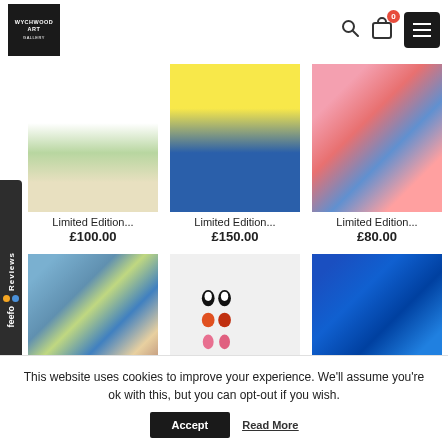[Figure (screenshot): Wychwood Art Gallery website header with logo, search icon, cart icon (badge: 0), and hamburger menu button]
[Figure (screenshot): Feefo Reviews sidebar widget on left edge]
[Figure (photo): Limited Edition artwork - landscape with green trees, top row left]
Limited Edition...
£100.00
[Figure (photo): Limited Edition artwork - yellow and blue seascape, top row center]
Limited Edition...
£150.00
[Figure (photo): Limited Edition artwork - colorful figurative painting, top row right]
Limited Edition...
£80.00
[Figure (photo): Limited Edition artwork - coastal town painterly scene, bottom row left]
Limited Edition...
[Figure (photo): Limited Edition artwork - six animal pairs (penguins, parrots, flamingos, frogs, bears, pandas), bottom row center]
Limited Edition...
[Figure (photo): Limited Edition artwork - blue starry night with swimmer figure, bottom row right]
Limited Edition...
This website uses cookies to improve your experience. We'll assume you're ok with this, but you can opt-out if you wish.
Accept
Read More